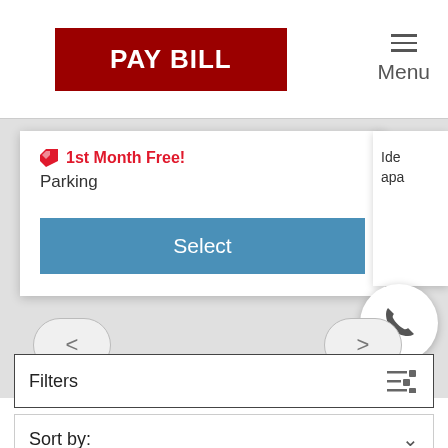[Figure (screenshot): Red PAY BILL button at top center of page]
Menu
1st Month Free!
Parking
Select
Ide apa
[Figure (other): Phone/call circular button on right side]
[Figure (other): Left navigation arrow button]
[Figure (other): Right navigation arrow button]
Filters
Sort by: